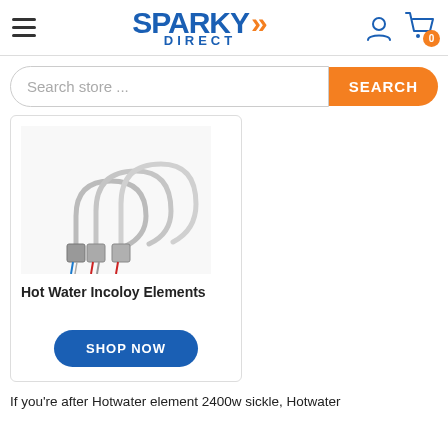Sparky Direct — navigation header with hamburger menu, logo, user icon, and cart (0)
Search store ...
[Figure (photo): Photograph of multiple stainless steel hot water incoloy heating elements with coloured wire leads]
Hot Water Incoloy Elements
SHOP NOW
If you're after Hotwater element 2400w sickle, Hotwater